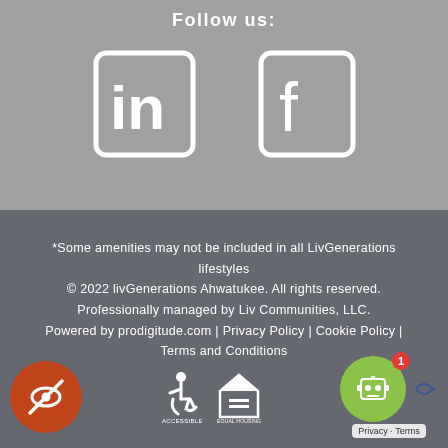Follow us:
[Figure (illustration): LinkedIn and Facebook social media icons in white outlines on gray background]
*Some amenities may not be included in all LivGenerations lifestyles
© 2022 livGenerations Ahwatukee. All rights reserved.
Professionally managed by Liv Communities, LLC.
Powered by prodigitude.com | Privacy Policy | Cookie Policy | Terms and Conditions
[Figure (illustration): Orange circle with crossed-out eye icon (accessibility/visibility toggle), ADA wheelchair symbol, Equal Housing Opportunity logo, and reCAPTCHA robot icon with badge and Privacy/Terms label]